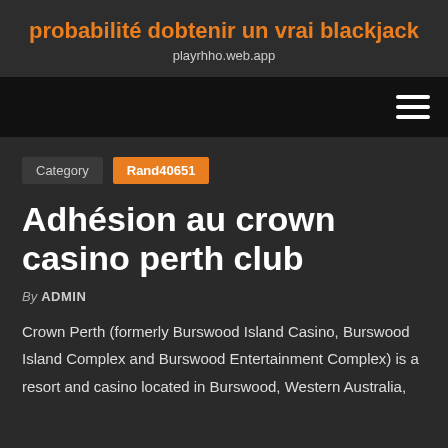probabilité dobtenir un vrai blackjack
playrhho.web.app
Category  Rand40651
Adhésion au crown casino perth club
By ADMIN
Crown Perth (formerly Burswood Island Casino, Burswood Island Complex and Burswood Entertainment Complex) is a resort and casino located in Burswood, Western Australia,